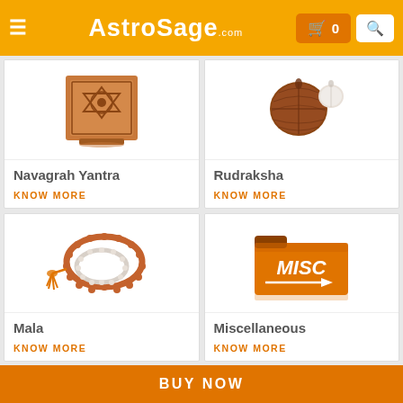AstroSage.com — Navigation header with cart (0) and search
[Figure (illustration): Navagrah Yantra product image — orange/red yantra]
Navagrah Yantra
KNOW MORE
[Figure (illustration): Rudraksha bead product image]
Rudraksha
KNOW MORE
[Figure (illustration): Mala (prayer beads) product image — brown and white beads with orange tassel]
Mala
KNOW MORE
[Figure (illustration): Miscellaneous — orange folder icon with MISC text]
Miscellaneous
KNOW MORE
BUY NOW